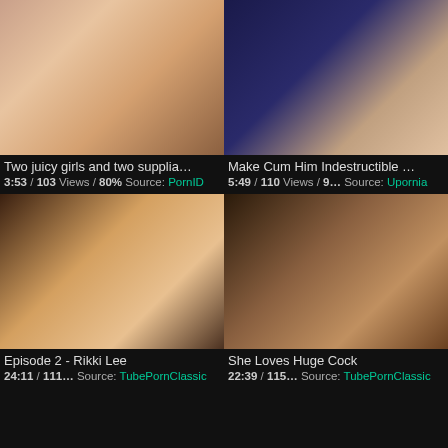[Figure (photo): Video thumbnail 1 - two women]
Two juicy girls and two supplia…
3:53 / 103 Views / 80% Source: PornID
[Figure (photo): Video thumbnail 2 - explicit content with candles]
Make Cum Him Indestructible …
5:49 / 110 Views / 9… Source: Upornia
[Figure (photo): Video thumbnail 3 - Episode 2 Rikki Lee]
Episode 2 - Rikki Lee
24:11 / 111… Source: TubePornClassic
[Figure (photo): Video thumbnail 4 - She Loves Huge Cock]
She Loves Huge Cock
22:39 / 115… Source: TubePornClassic